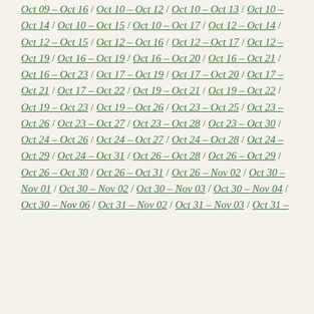Oct 09 – Oct 16 / Oct 10 – Oct 12 / Oct 10 – Oct 13 / Oct 10 – Oct 14 / Oct 10 – Oct 15 / Oct 10 – Oct 17 / Oct 12 – Oct 14 / Oct 12 – Oct 15 / Oct 12 – Oct 16 / Oct 12 – Oct 17 / Oct 12 – Oct 19 / Oct 16 – Oct 19 / Oct 16 – Oct 20 / Oct 16 – Oct 21 / Oct 16 – Oct 23 / Oct 17 – Oct 19 / Oct 17 – Oct 20 / Oct 17 – Oct 21 / Oct 17 – Oct 22 / Oct 19 – Oct 21 / Oct 19 – Oct 22 / Oct 19 – Oct 23 / Oct 19 – Oct 26 / Oct 23 – Oct 25 / Oct 23 – Oct 26 / Oct 23 – Oct 27 / Oct 23 – Oct 28 / Oct 23 – Oct 30 / Oct 24 – Oct 26 / Oct 24 – Oct 27 / Oct 24 – Oct 28 / Oct 24 – Oct 29 / Oct 24 – Oct 31 / Oct 26 – Oct 28 / Oct 26 – Oct 29 / Oct 26 – Oct 30 / Oct 26 – Oct 31 / Oct 26 – Nov 02 / Oct 30 – Nov 01 / Oct 30 – Nov 02 / Oct 30 – Nov 03 / Oct 30 – Nov 04 / Oct 30 – Nov 06 / Oct 31 – Nov 02 / Oct 31 – Nov 03 / Oct 31 – Nov 04 / Oct 31 – Nov 05 / Oct 31 – Nov 07 /